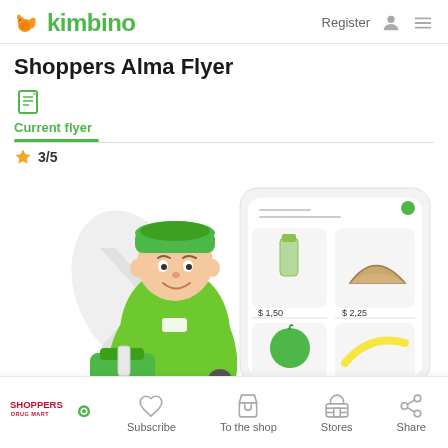kimbino — Register
Shoppers Alma Flyer
Current flyer
3/5
[Figure (illustration): Illustration of a delivery person in green uniform holding grocery bag, with a smartphone app mockup showing grocery items with prices ($1.50, $2.25, $1.00) in the background]
Shoppers Drug Mart logo — Subscribe  To the shop  Stores  Share